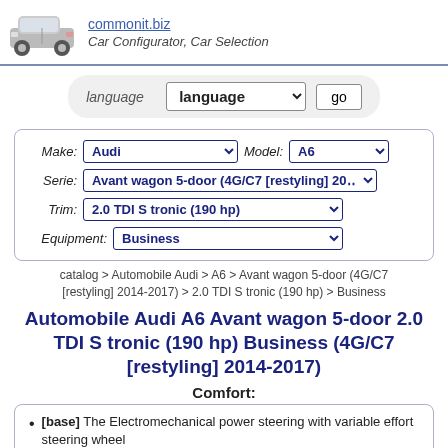commonit.biz — Car Configurator, Car Selection
language  [language dropdown]  go
Make: Audi  Model: A6  Serie: Avant wagon 5-door (4G/C7 [restyling] 20...  Trim: 2.0 TDI S tronic (190 hp)  Equipment: Business
catalog > Automobile Audi > A6 > Avant wagon 5-door (4G/C7 [restyling] 2014-2017) > 2.0 TDI S tronic (190 hp) > Business
Automobile Audi A6 Avant wagon 5-door 2.0 TDI S tronic (190 hp) Business (4G/C7 [restyling] 2014-2017)
Comfort:
[base] The Electromechanical power steering with variable effort steering wheel
[base] Collapsible steering column manually adjustable for hight and tilt adjustment